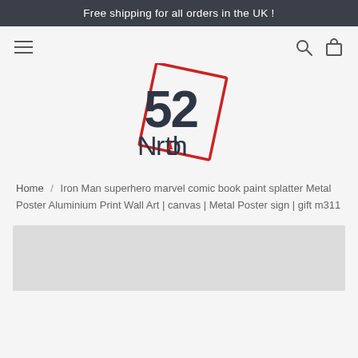Free shipping for all orders in the UK!
[Figure (logo): 52 North logo with red tilted rectangle frame and compass/triangle symbol inside the 'o' of North]
Home / Iron Man superhero marvel comic book paint splatter Metal Poster Aluminium Print Wall Art | canvas | Metal Poster sign | gift m311
[Figure (photo): Product image placeholder (light grey rectangle)]